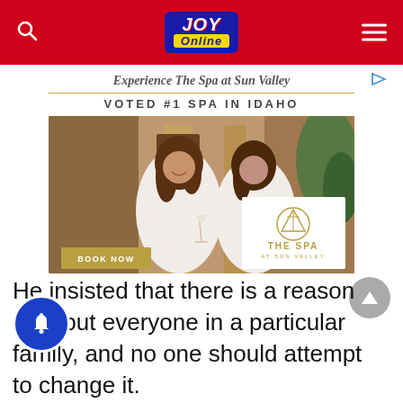Joy Online
[Figure (photo): Advertisement for The Spa at Sun Valley showing two women in white robes smiling, with 'BOOK NOW' button and The Spa at Sun Valley logo overlay. Text reads: Experience The Spa at Sun Valley / VOTED #1 SPA IN IDAHO]
He insisted that there is a reason God put everyone in a particular family, and no one should attempt to change it.